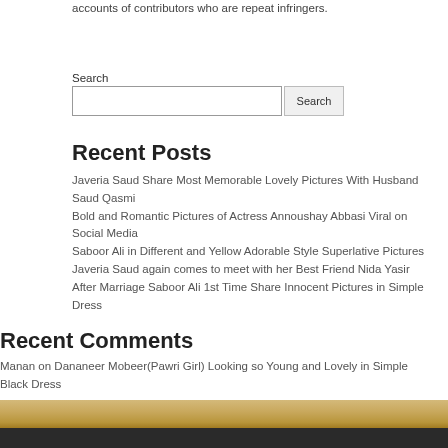accounts of contributors who are repeat infringers.
Search
Recent Posts
Javeria Saud Share Most Memorable Lovely Pictures With Husband Saud Qasmi
Bold and Romantic Pictures of Actress Annoushay Abbasi Viral on Social Media
Saboor Ali in Different and Yellow Adorable Style Superlative Pictures
Javeria Saud again comes to meet with her Best Friend Nida Yasir
After Marriage Saboor Ali 1st Time Share Innocent Pictures in Simple Dress
Recent Comments
Manan on Dananeer Mobeer(Pawri Girl) Looking so Young and Lovely in Simple Black Dress